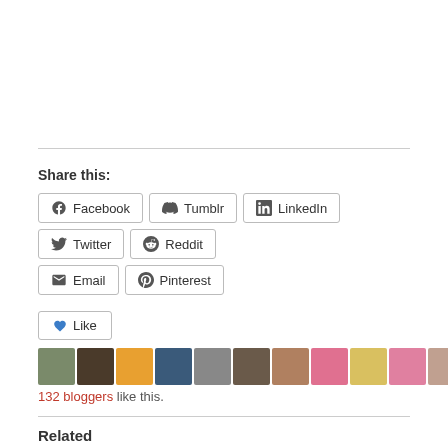Share this:
Facebook
Tumblr
LinkedIn
Twitter
Reddit
Email
Pinterest
132 bloggers like this.
Related
Saying YES to Love and NO to Fear — Part 1
June 30, 2016
Living the Inner Mystery in the Outer World
December 15, 2017